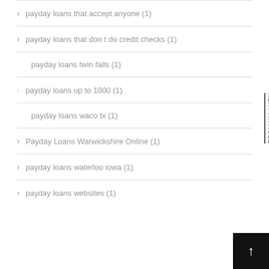payday loans that accept anyone (1)
payday loans that don t do credit checks (1)
payday loans twin falls (1)
payday loans up to 1000 (1)
payday loans waco tx (1)
Payday Loans Warwickshire Online (1)
payday loans waterloo iowa (1)
payday loans websites (1)